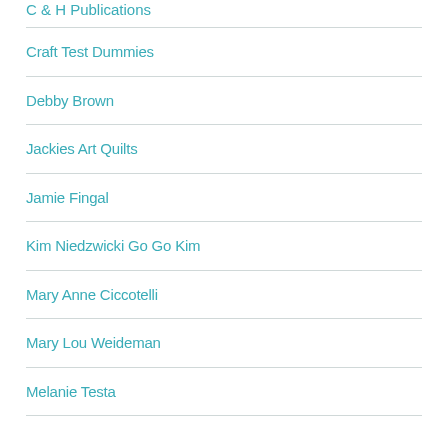C & H Publications
Craft Test Dummies
Debby Brown
Jackies Art Quilts
Jamie Fingal
Kim Niedzwicki Go Go Kim
Mary Anne Ciccotelli
Mary Lou Weideman
Melanie Testa